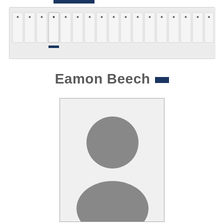[Figure (other): Horizontal filmstrip/pagination strip showing approximately 17 small thumbnail boxes in a row with dots, set against a light grey background. A dark navy blue indicator bar appears below the 4th thumbnail from left.]
Eamon Beech
[Figure (photo): Generic placeholder profile photo showing silhouette of a person (circle for head, rounded shoulders/torso) in grey on a light grey background, within a bordered rectangle.]